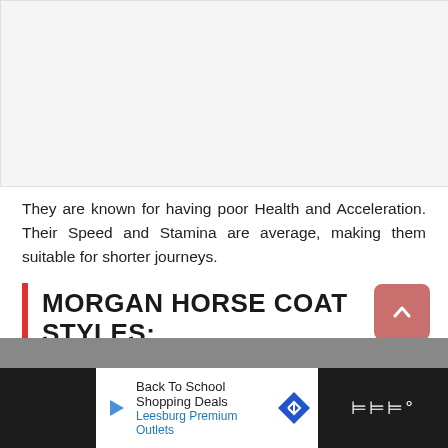[Figure (photo): Blank/placeholder image area with light gray background]
They are known for having poor Health and Acceleration. Their Speed and Stamina are average, making them suitable for shorter journeys.
MORGAN HORSE COAT STYLES:
[Figure (photo): Partial images of horses at bottom of page]
Back To School Shopping Deals Leesburg Premium Outlets